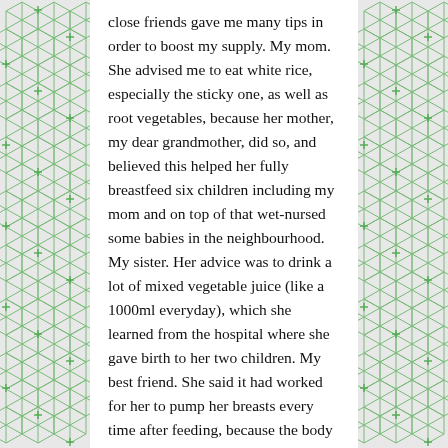close friends gave me many tips in order to boost my supply. My mom. She advised me to eat white rice, especially the sticky one, as well as root vegetables, because her mother, my dear grandmother, did so, and believed this helped her fully breastfeed six children including my mom and on top of that wet-nursed some babies in the neighbourhood. My sister. Her advice was to drink a lot of mixed vegetable juice (like a 1000ml everyday), which she learned from the hospital where she gave birth to her two children. My best friend. She said it had worked for her to pump her breasts every time after feeding, because the body thinks it needs to produce more, and hence more milk production. As gullible as I was, I even bought (check this) an “electrical” pump